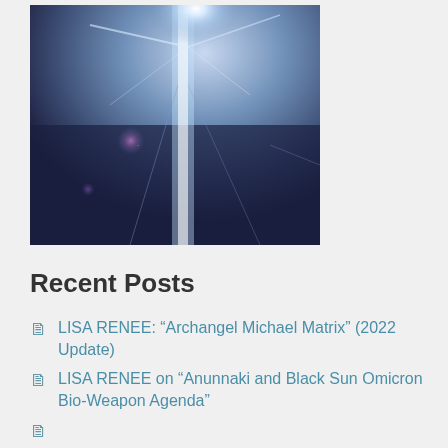[Figure (photo): Dark blue/purple toned image with a bright white light flare/starburst effect at the top center, with pink and purple lens flare artifacts, suggesting a light source shining through an architectural structure.]
Recent Posts
LISA RENEE: “Archangel Michael Matrix” (2022 Update)
LISA RENEE on “Anunnaki and Black Sun Omicron Bio-Weapon Agenda”
LISA RENEE: “...